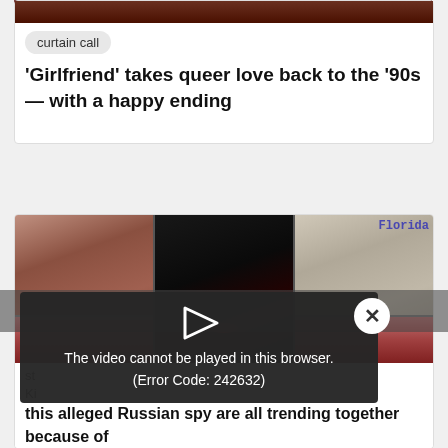[Figure (photo): Partial top edge of a photo at the top of card 1]
curtain call
'Girlfriend' takes queer love back to the '90s — with a happy ending
[Figure (photo): Three-panel collage image: left panel shows a woman with brown hair, center panel shows Elvira-like figure with black hair and red lips, right panel shows a Florida driver's license photo. Bottom row shows small images of a wrestler in red. A video error overlay reads: The video cannot be played in this browser. (Error Code: 242632)]
st
Ki
this alleged Russian spy are all trending together because of